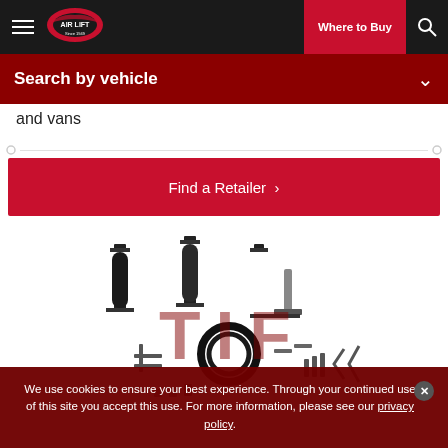[Figure (screenshot): Air Lift website navigation bar with hamburger menu, Air Lift logo, 'Where to Buy' red button, and search icon on dark background]
Search by vehicle
and vans
[Figure (other): Navigation dots / carousel indicator row]
Find a Retailer >
[Figure (photo): Air Lift suspension kit product photo showing two air springs, mounting brackets, hose, and hardware components on white background]
We use cookies to ensure your best experience. Through your continued use of this site you accept this use. For more information, please see our privacy policy.